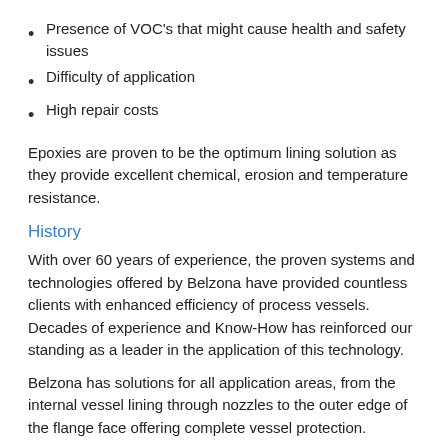Presence of VOC's that might cause health and safety issues
Difficulty of application
High repair costs
Epoxies are proven to be the optimum lining solution as they provide excellent chemical, erosion and temperature resistance.
History
With over 60 years of experience, the proven systems and technologies offered by Belzona have provided countless clients with enhanced efficiency of process vessels. Decades of experience and Know-How has reinforced our standing as a leader in the application of this technology.
Belzona has solutions for all application areas, from the internal vessel lining through nozzles to the outer edge of the flange face offering complete vessel protection.